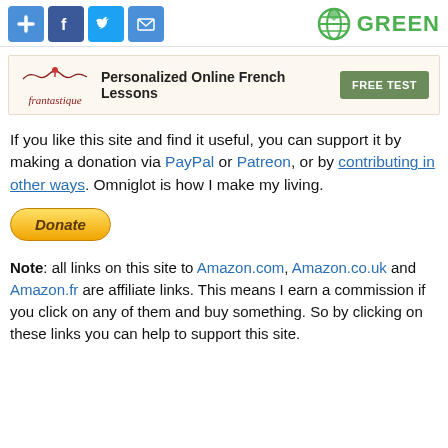[Figure (infographic): Social sharing icons: plus, Facebook, Twitter, email (blue square icons) on the left; green globe icon with GREEN text on the right]
[Figure (infographic): Frantastique ad banner: logo on left, 'Personalized Online French Lessons' text in center, green FREE TEST button on right]
If you like this site and find it useful, you can support it by making a donation via PayPal or Patreon, or by contributing in other ways. Omniglot is how I make my living.
[Figure (infographic): Yellow Donate button]
Note: all links on this site to Amazon.com, Amazon.co.uk and Amazon.fr are affiliate links. This means I earn a commission if you click on any of them and buy something. So by clicking on these links you can help to support this site.